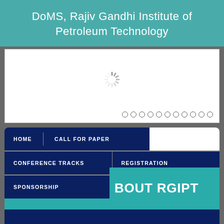DoMS, Rajiv Gandhi Institute of Petroleum Technology
[Figure (screenshot): White slider/carousel box with a loading spinner icon in the center and 11 navigation dots at the bottom right]
[Figure (screenshot): Dark navy navigation menu with items: HOME, CALL FOR PAPER, CONFERENCE TRACKS, REGISTRATION, SPONSORSHIP, and overlapping teal panel with text BOUT RGIPT (About RGIPT)]